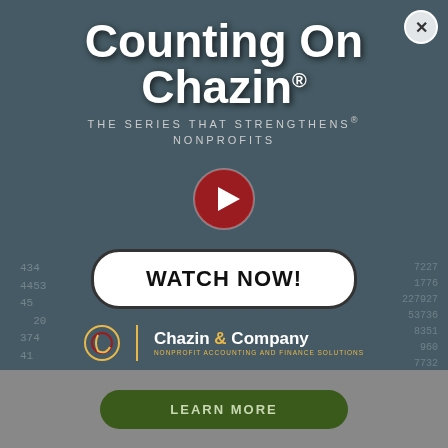Boost your fundraising and marketing campaigns with HubSpot's 2022 Nonprofit Trends report.
[Figure (screenshot): Modal popup advertisement for 'Counting On Chazin' video series by Chazin & Company. Features a dark overlay on ledger/accounting imagery with white bold title text 'Counting On Chazin', subtitle 'THE SERIES THAT STRENGTHENS NONPROFITS', a red play button circle, a 'WATCH NOW!' button with rounded white background, and the Chazin & Company logo with tagline 'NONPROFIT ACCOUNTING AND FINANCE SOLUTIONS'. A close (X) button appears in the upper right corner.]
LEARN MORE